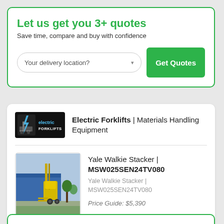Let us get you 3+ quotes
Save time, compare and buy with confidence
Your delivery location?
Get Quotes
Electric Forklifts | Materials Handling Equipment
[Figure (logo): Electric Forklifts logo — black background with forklift icon and blue/green 'electric FORKLIFTS' text]
Yale Walkie Stacker | MSW025SEN24TV080
[Figure (photo): Photo of a yellow Yale Walkie Stacker forklift outdoors in a parking lot with a blue building in background]
Yale Walkie Stacker | MSW025SEN24TV080
Price Guide: $5,390